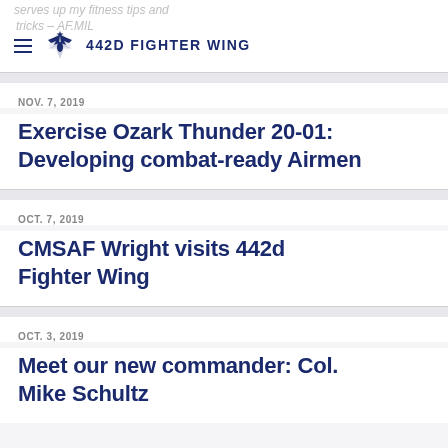442D FIGHTER WING
NOV. 7, 2019
Exercise Ozark Thunder 20-01: Developing combat-ready Airmen
OCT. 7, 2019
CMSAF Wright visits 442d Fighter Wing
OCT. 3, 2019
Meet our new commander: Col. Mike Schultz